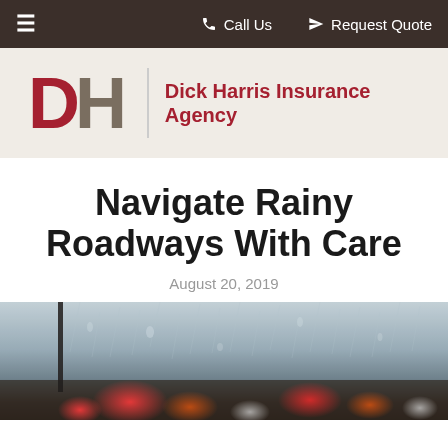≡  ☎ Call Us    ➤ Request Quote
[Figure (logo): Dick Harris Insurance Agency logo with large DH letters (D in red, H in taupe) and company name in red]
Navigate Rainy Roadways With Care
August 20, 2019
[Figure (photo): Blurred photo taken from inside a car looking through a rain-covered windshield at traffic on a rainy road, with bokeh red and white lights visible]